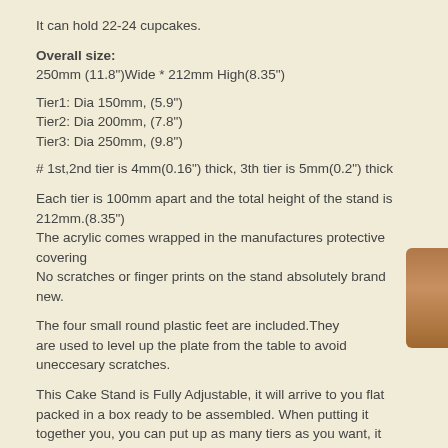It can hold 22-24 cupcakes.
Overall size:
250mm (11.8")Wide * 212mm High(8.35")
Tier1: Dia 150mm, (5.9")
Tier2: Dia 200mm, (7.8")
Tier3: Dia 250mm, (9.8")
# 1st,2nd tier is 4mm(0.16") thick, 3th tier is 5mm(0.2") thick
Each tier is 100mm apart and the total height of the stand is 212mm.(8.35")
The acrylic comes wrapped in the manufactures protective covering
No scratches or finger prints on the stand absolutely brand new.
The four small round plastic feet are included.They are used to level up the plate from the table to avoid uneccesary scratches.
This Cake Stand is Fully Adjustable, it will arrive to you flat packed in a box ready to be assembled. When putting it together you, you can put up as many tiers as you want, it does not need to be the full height if you do not wish.
Download Assembly instructions for Round Maypole cupcake Stand
ASSEMBLY GUIDE: